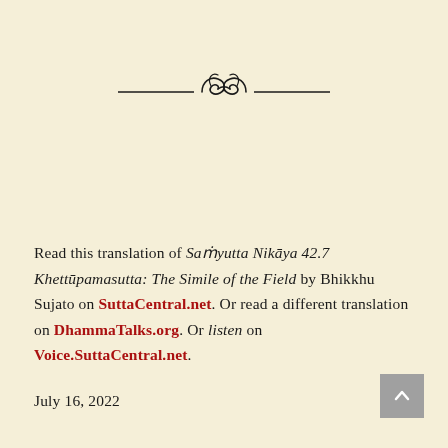[Figure (illustration): Decorative ornamental divider with scrollwork / flourish design consisting of two horizontal lines meeting a central curling floral motif]
Read this translation of Saṁyutta Nikāya 42.7 Khettūpamasutta: The Simile of the Field by Bhikkhu Sujato on SuttaCentral.net. Or read a different translation on DhammaTalks.org. Or listen on Voice.SuttaCentral.net.
July 16, 2022